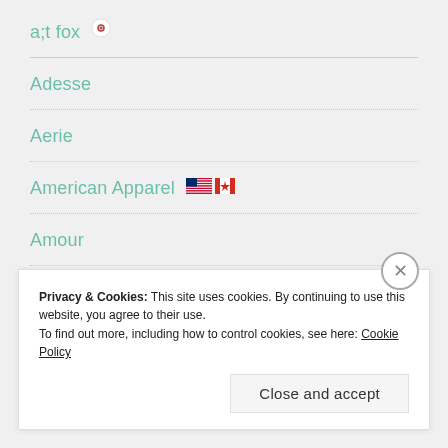a;t fox 🇰🇷
Adesse
Aerie
American Apparel 🇺🇸🇨🇦
Amour
Andalou Naturals
Anna Sui
Privacy & Cookies: This site uses cookies. By continuing to use this website, you agree to their use.
To find out more, including how to control cookies, see here: Cookie Policy
Close and accept